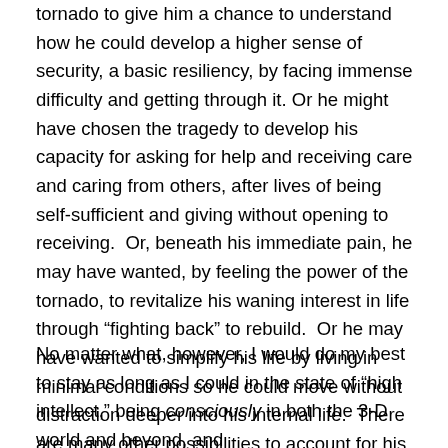tornado to give him a chance to understand how he could develop a higher sense of security, a basic resiliency, by facing immense difficulty and getting through it. Or he might have chosen the tragedy to develop his capacity for asking for help and receiving care and caring from others, after lives of being self-sufficient and giving without opening to receiving.  Or, beneath his immediate pain, he may have wanted, by feeling the power of the tornado, to revitalize his waning interest in life through “fighting back” to rebuild.  Or he may have wanted to simplify his life by living in minimal conditions so he could move without distraction deeper into his internal life.  There are many other possibilities to account for his creation.
No matter what, however, I would do my best to stay as long as I could in the state of “high intellect,” being consciously in both the 3-D world and beyond, and